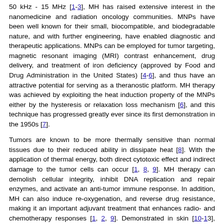50 kHz - 15 MHz [1-3], MH has raised extensive interest in the nanomedicine and radiation oncology communities. MNPs have been well known for their small, biocompatible, and biodegradable nature, and with further engineering, have enabled diagnostic and therapeutic applications. MNPs can be employed for tumor targeting, magnetic resonant imaging (MRI) contrast enhancement, drug delivery, and treatment of iron deficiency (approved by Food and Drug Administration in the United States) [4-6], and thus have an attractive potential for serving as a theranostic platform. MH therapy was achieved by exploiting the heat induction property of the MNPs either by the hysteresis or relaxation loss mechanism [6], and this technique has progressed greatly ever since its first demonstration in the 1950s [7].
Tumors are known to be more thermally sensitive than normal tissues due to their reduced ability in dissipate heat [8]. With the application of thermal energy, both direct cytotoxic effect and indirect damage to the tumor cells can occur [1, 8, 9]. MH therapy can demolish cellular integrity, inhibit DNA replication and repair enzymes, and activate an anti-tumor immune response. In addition, MH can also induce re-oxygenation, and reverse drug resistance, making it an important adjuvant treatment that enhances radio- and chemotherapy responses [1, 2, 9]. Demonstrated in skin [10-13], prostate [14], intracranial [15], and mammary [16] tumors, MH therapy has induced tumor cell death, as well as therapeutic effects such as tumor regression and a prolonged survival rate. In the 2000s, clinical trials of MH alone or with external radiotherapy were successfully carried out on prostate cancer and glioblastoma patients in Germany [17, 18]. Since then, efforts in clinical investigations of MH therapy have continued and expanded, with the United States recently beginning clinical trials in 2019 [2].